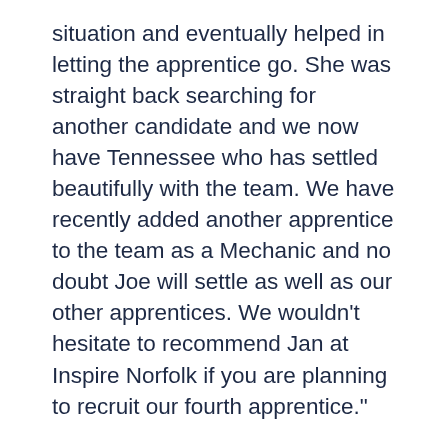situation and eventually helped in letting the apprentice go. She was straight back searching for another candidate and we now have Tennessee who has settled beautifully with the team. We have recently added another apprentice to the team as a Mechanic and no doubt Joe will settle as well as our other apprentices. We wouldn't hesitate to recommend Jan at Inspire Norfolk if you are planning to recruit our fourth apprentice."
Sophie - Cator Family Car Sales